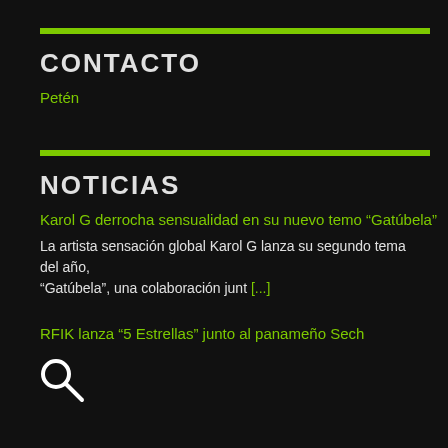CONTACTO
Petén
NOTICIAS
Karol G derrocha sensualidad en su nuevo temo “Gatúbela”
La artista sensación global Karol G lanza su segundo tema del año, “Gatúbela”, una colaboración junt [...]
RFIK lanza “5 Estrellas” junto al panameño Sech
[Figure (other): Search icon (magnifying glass) in white]